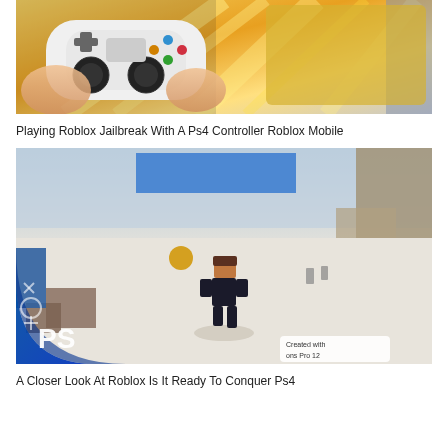[Figure (photo): Hands holding a white PS4 controller in front of a tablet screen showing Roblox Jailbreak game with yellow and gold color scheme]
Playing Roblox Jailbreak With A Ps4 Controller Roblox Mobile
[Figure (photo): Roblox game screenshot showing a blocky character running in a white open environment with blue and brown block structures, PS4 overlay logo in bottom left corner with 'Created with Actions Pro 12' watermark]
A Closer Look At Roblox Is It Ready To Conquer Ps4